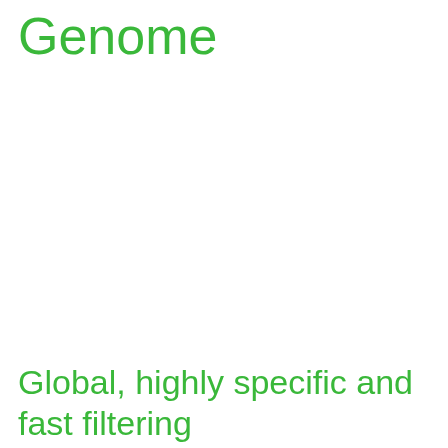Genome
Global, highly specific and fast filtering